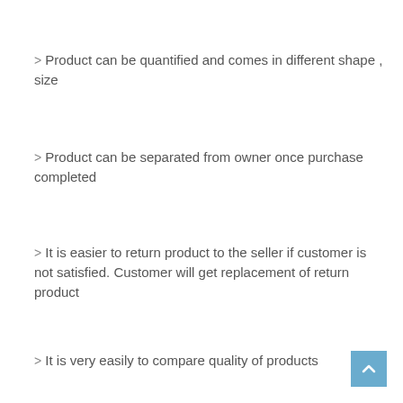Product can be quantified and comes in different shape , size
Product can be separated from owner once purchase completed
It is easier to return product to the seller if customer is not satisfied. Customer will get replacement of return product
It is very easily to compare quality of products